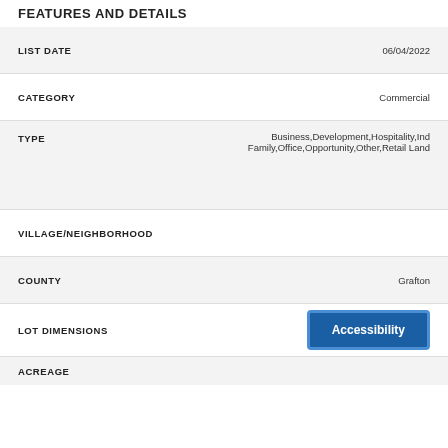FEATURES AND DETAILS
| Field | Value |
| --- | --- |
| LIST DATE | 06/04/2022 |
| CATEGORY | Commercial |
| TYPE | Business,Development,Hospitality,Ind Family,Office,Opportunity,Other,Retail Land |
| VILLAGE/NEIGHBORHOOD |  |
| COUNTY | Grafton |
| LOT DIMENSIONS | Accessibility |
| ACREAGE |  |